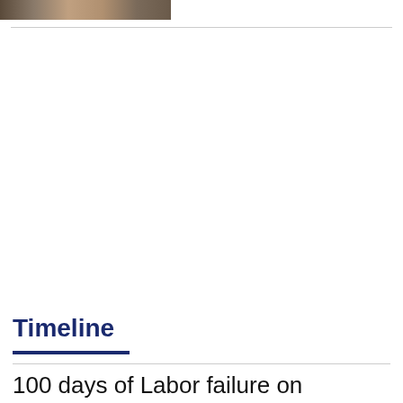[Figure (photo): A partial photo strip at the top left of the page showing what appears to be a person or persons, cropped]
Timeline
100 days of Labor failure on Australian agriculture